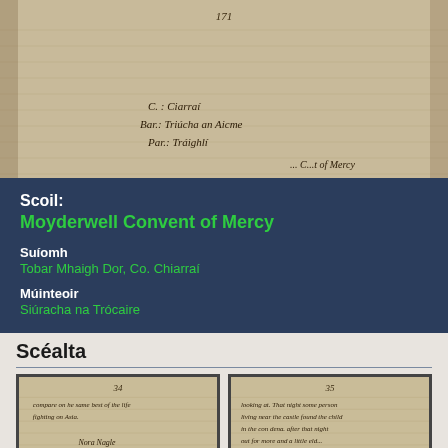[Figure (photo): Scanned manuscript page showing handwritten Irish text: page number 171 at top, with lines reading 'C.: Ciarraí', 'Bar.: Triúcha an Aicme', 'Par.: Tráighlí', and partially visible text at bottom right]
Scoil:
Moyderwell Convent of Mercy
Suíomh
Tobar Mhaigh Dor, Co. Chiarraí
Múinteoir
Siúracha na Trócaire
Scéalta
[Figure (photo): Thumbnail of scanned manuscript page showing handwritten English text with signature 'Nora Nagle' and location text below]
[Figure (photo): Thumbnail of scanned manuscript page showing handwritten English text beginning with 'looking at. That night some person...']